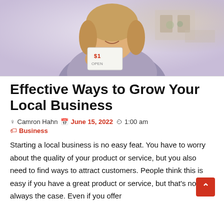[Figure (photo): Woman smiling and holding up a small sign, photographed in what appears to be a kitchen or shop setting. The top portion of the image is visible, cropped.]
Effective Ways to Grow Your Local Business
Camron Hahn   June 15, 2022   1:00 am   Business
Starting a local business is no easy feat. You have to worry about the quality of your product or service, but you also need to find ways to attract customers. People think this is easy if you have a great product or service, but that's not always the case. Even if you offer